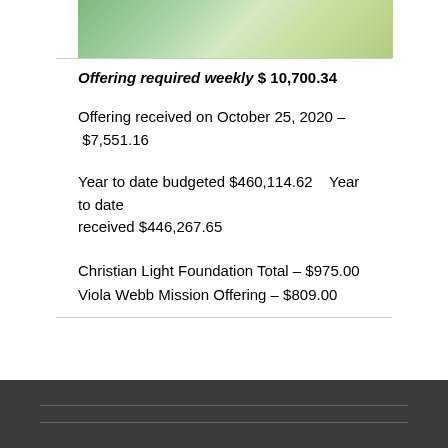[Figure (illustration): Green decorative image with leaf/floral motif, gradient from dark green to light yellow-green]
Offering required weekly $ 10,700.34
Offering received on October 25, 2020 – $7,551.16
Year to date budgeted $460,114.62   Year to date received $446,267.65
Christian Light Foundation Total – $975.00
Viola Webb Mission Offering – $809.00